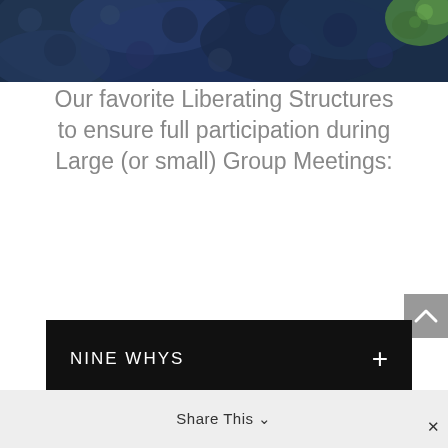[Figure (photo): Abstract close-up photo of dark blue-green organic textures, possibly lichen or coral, with a small green element visible in the upper right corner.]
Our favorite Liberating Structures to ensure full participation during Large (or small) Group Meetings:
NINE WHYS
WISE CROWDS
Share This